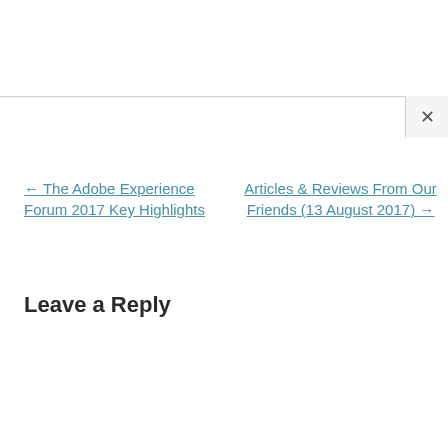← The Adobe Experience Forum 2017 Key Highlights
Articles & Reviews From Our Friends (13 August 2017) →
Leave a Reply